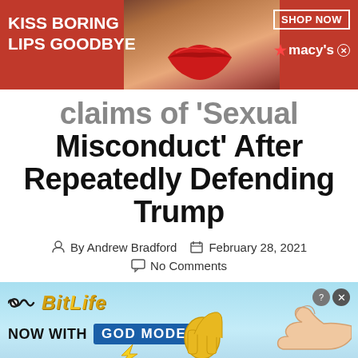[Figure (photo): Top advertisement banner for Macy's with red lips makeup photo. Text: 'KISS BORING LIPS GOODBYE', 'SHOP NOW', 'macy's'. Red background with close-up face image.]
...claims of 'Sexual Misconduct' After Repeatedly Defending Trump
By Andrew Bradford   February 28, 2021   No Comments
[Figure (photo): Bottom advertisement for BitLife game with light blue background. Text: 'BitLife NOW WITH GOD MODE'. Animated hand pointer graphic on right.]